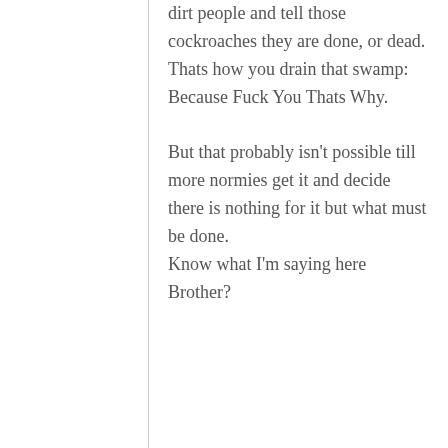dirt people and tell those cockroaches they are done, or dead. Thats how you drain that swamp: Because Fuck You Thats Why.

But that probably isn't possible till more normies get it and decide there is nothing for it but what must be done. Know what I'm saying here Brother?